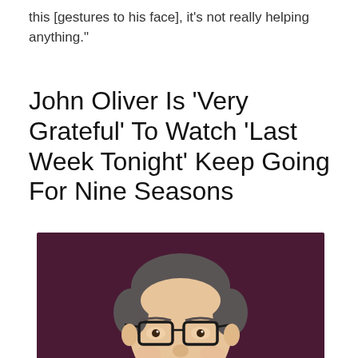this [gestures to his face], it's not really helping anything."
John Oliver Is ‘Very Grateful’ To Watch ‘Last Week Tonight’ Keep Going For Nine Seasons
[Figure (photo): Portrait photo of John Oliver smiling, wearing dark-rimmed glasses and a suit, against a dark burgundy/purple background.]
Instagram
John Oliver ha...